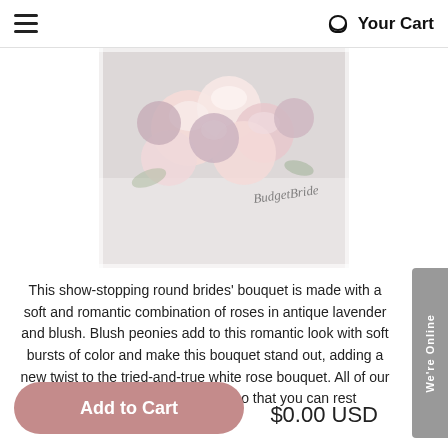Your Cart
[Figure (photo): A round bridal bouquet with blush and antique lavender roses and blush peonies, with a 'Budget Bride' watermark script in the lower right corner.]
This show-stopping round brides’ bouquet is made with a soft and romantic combination of roses in antique lavender and blush. Blush peonies add to this romantic look with soft bursts of color and make this bouquet stand out, adding a new twist to the tried-and-true white rose bouquet. All of our bouquets are wired by hand, so that you can rest
Add to Cart
$0.00 USD